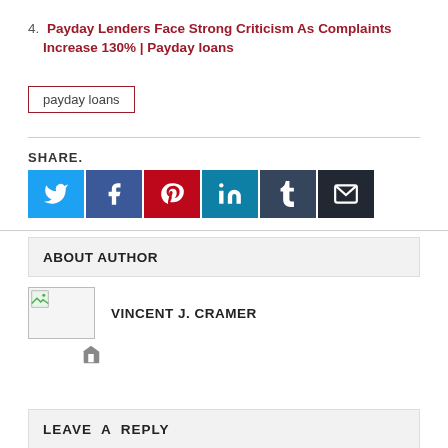4. Payday Lenders Face Strong Criticism As Complaints Increase 130% | Payday loans
payday loans
SHARE.
[Figure (infographic): Social sharing buttons: Twitter (light blue), Facebook (dark blue), Pinterest (red), LinkedIn (teal), Tumblr (dark blue-gray), Email (dark near-black)]
ABOUT AUTHOR
[Figure (photo): Author image placeholder with broken image icon for Vincent J. Cramer]
VINCENT J. CRAMER
[Figure (illustration): Home/house icon]
LEAVE A REPLY